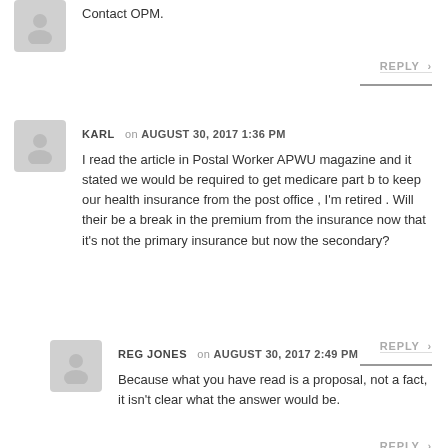Contact OPM.
REPLY
KARL on AUGUST 30, 2017 1:36 PM
I read the article in Postal Worker APWU magazine and it stated we would be required to get medicare part b to keep our health insurance from the post office , I'm retired . Will their be a break in the premium from the insurance now that it's not the primary insurance but now the secondary?
REPLY
REG JONES on AUGUST 30, 2017 2:49 PM
Because what you have read is a proposal, not a fact, it isn't clear what the answer would be.
REPLY